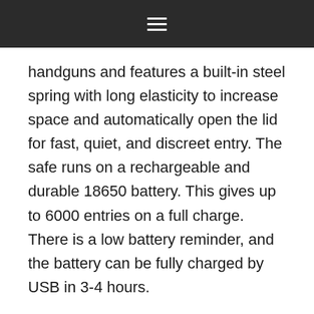☰
handguns and features a built-in steel spring with long elasticity to increase space and automatically open the lid for fast, quiet, and discreet entry. The safe runs on a rechargeable and durable 18650 battery. This gives up to 6000 entries on a full charge. There is a low battery reminder, and the battery can be fully charged by USB in 3-4 hours.
I was very impressed with both the construction and operation of this safe. The hard carbon steel and metal coating create a tough and durable safety system. Plus, with